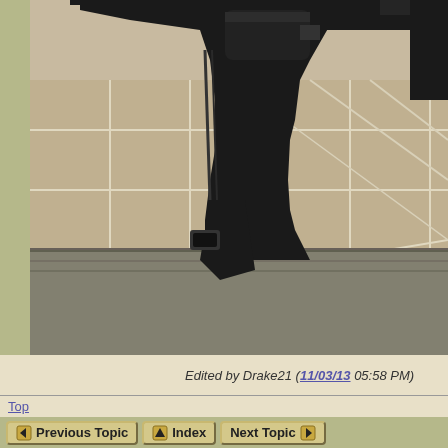[Figure (photo): Close-up photograph of a black AR-style rifle stock/buttstock resting on a beige/tan tile floor, with a gray carpet visible at the bottom of the image. The rifle is black with a collapsible stock design.]
Edited by Drake21 (11/03/13 05:58 PM)
Top
◆ Previous Topic   ◆ Index   Next Topic ◆